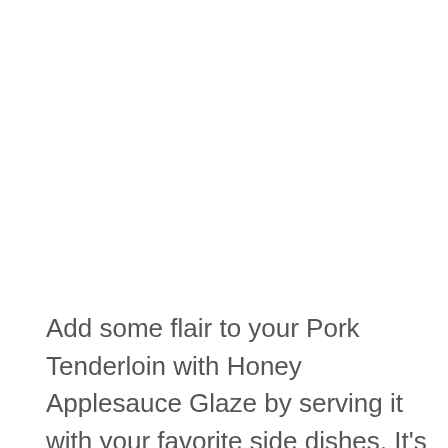Add some flair to your Pork Tenderloin with Honey Applesauce Glaze by serving it with your favorite side dishes. It's important to make sure that yo[u]n